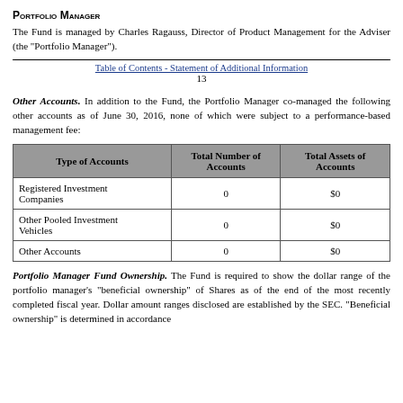Portfolio Manager
The Fund is managed by Charles Ragauss, Director of Product Management for the Adviser (the "Portfolio Manager").
Table of Contents - Statement of Additional Information
13
Other Accounts. In addition to the Fund, the Portfolio Manager co-managed the following other accounts as of June 30, 2016, none of which were subject to a performance-based management fee:
| Type of Accounts | Total Number of Accounts | Total Assets of Accounts |
| --- | --- | --- |
| Registered Investment Companies | 0 | $0 |
| Other Pooled Investment Vehicles | 0 | $0 |
| Other Accounts | 0 | $0 |
Portfolio Manager Fund Ownership. The Fund is required to show the dollar range of the portfolio manager's "beneficial ownership" of Shares as of the end of the most recently completed fiscal year. Dollar amount ranges disclosed are established by the SEC. "Beneficial ownership" is determined in accordance